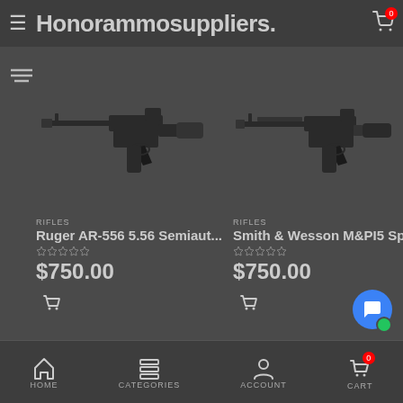≡ Honorammosuppliers.c [cart icon with 0 badge]
[Figure (screenshot): Product card: rifle image - Ruger AR-556 5.56 Semiautomatic rifle silhouette on dark background]
RIFLES
Ruger AR-556 5.56 Semiaut...
$750.00
[Figure (screenshot): Product card: rifle image - Smith & Wesson M&P15 Sport rifle silhouette on dark background]
RIFLES
Smith & Wesson M&PI5 Sp...
$750.00
HOME   CATEGORIES   ACCOUNT   CART (0)